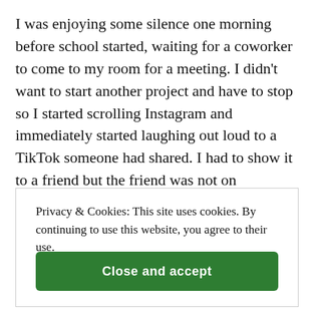I was enjoying some silence one morning before school started, waiting for a coworker to come to my room for a meeting. I didn't want to start another project and have to stop so I started scrolling Instagram and immediately started laughing out loud to a TikTok someone had shared. I had to show it to a friend but the friend was not on Instagram. How could I do this?
Privacy & Cookies: This site uses cookies. By continuing to use this website, you agree to their use. To find out more, including how to control cookies, see here: Cookie Policy
Close and accept